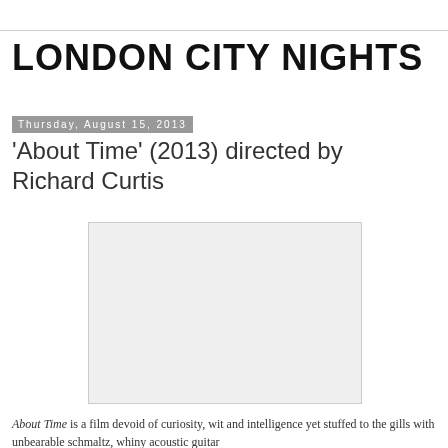LONDON CITY NIGHTS
Thursday, August 15, 2013
'About Time' (2013) directed by Richard Curtis
[Figure (photo): Blank placeholder image for the film 'About Time']
About Time is a film devoid of curiosity, wit and intelligence yet stuffed to the gills with unbearable schmaltz, whiny acoustic guitar